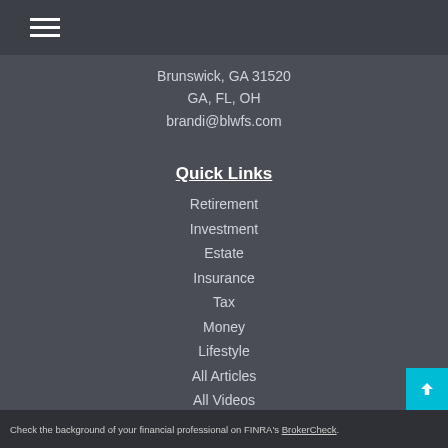≡ (hamburger menu icon)
Brunswick, GA 31520
GA, FL, OH
brandi@blwfs.com
Quick Links
Retirement
Investment
Estate
Insurance
Tax
Money
Lifestyle
All Articles
All Videos
All Calculators
All Presentations
Check the background of your financial professional on FINRA's BrokerCheck.